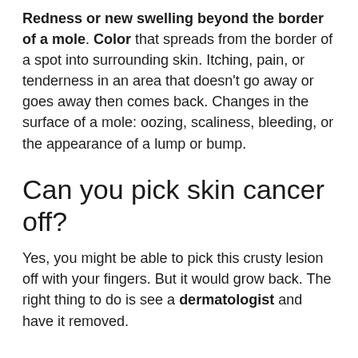Redness or new swelling beyond the border of a mole. Color that spreads from the border of a spot into surrounding skin. Itching, pain, or tenderness in an area that doesn't go away or goes away then comes back. Changes in the surface of a mole: oozing, scaliness, bleeding, or the appearance of a lump or bump.
Can you pick skin cancer off?
Yes, you might be able to pick this crusty lesion off with your fingers. But it would grow back. The right thing to do is see a dermatologist and have it removed.